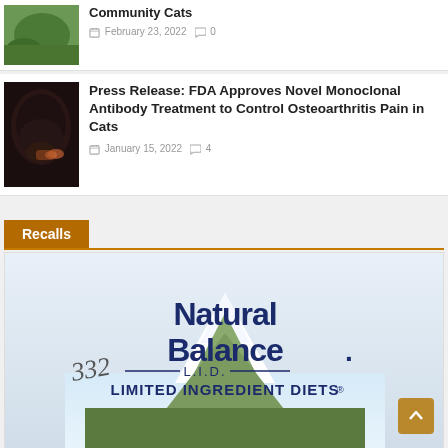[Figure (photo): Outdoor photo of a cat or animal in green grass, partially visible at top of page]
Community Cats
February 23, 2022  0
[Figure (photo): Black fluffy cat with party hat eating or sniffing something]
Press Release: FDA Approves Novel Monoclonal Antibody Treatment to Control Osteoarthritis Pain in Cats
January 15, 2022  4
Recalls
[Figure (photo): Natural Balance L.I.D. Limited Ingredient Diets pet food bag with mountain scenery]